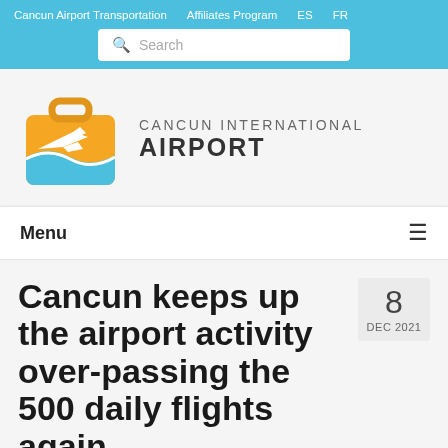Cancun Airport Transportation   Affiliates Program   ES   FR
[Figure (screenshot): Search bar with magnifying glass icon and placeholder text 'Search']
[Figure (logo): Cancun International Airport logo: orange suitcase with white airplane and blue wave, next to text 'CANCUN INTERNATIONAL AIRPORT']
Menu
Cancun keeps up the airport activity over-passing the 500 daily flights again
8 DEC 2021